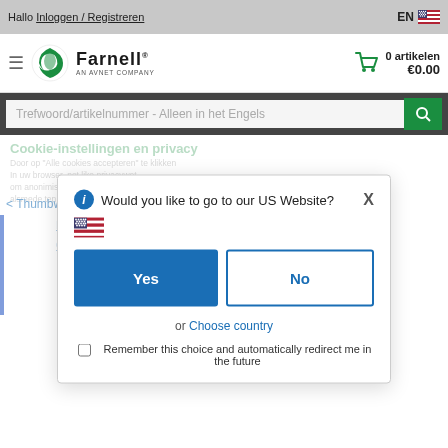Hallo Inloggen / Registreren  EN [NL flag]
[Figure (logo): Farnell AN AVNET COMPANY logo with green swirl]
0 artikelen €0.00
Trefwoord/artikelnummer - Alleen in het Engels
< Thumbwheel Switches
Cookie-instellingen en privacy
Meer informatie
Would you like to go to our US Website?
Yes
No
or Choose country
Remember this choice and automatically redirect me in the future
Minimale bestelhoeveelheid:  1